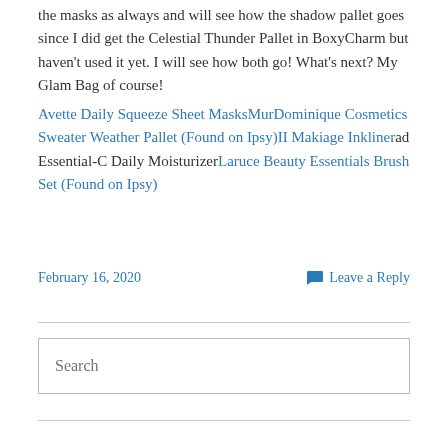the masks as always and will see how the shadow pallet goes since I did get the Celestial Thunder Pallet in BoxyCharm but haven't used it yet. I will see how both go! What's next? My Glam Bag of course!
Avette Daily Squeeze Sheet MasksMurDominique Cosmetics Sweater Weather Pallet (Found on Ipsy)II Makiage Inklinerad Essential-C Daily MoisturizerLaruce Beauty Essentials Brush Set (Found on Ipsy)
February 16, 2020
Leave a Reply
Search